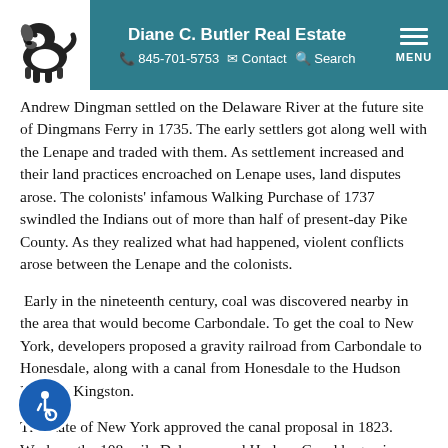Diane C. Butler Real Estate | 845-701-5753 | Contact | Search | MENU
Andrew Dingman settled on the Delaware River at the future site of Dingmans Ferry in 1735. The early settlers got along well with the Lenape and traded with them. As settlement increased and their land practices encroached on Lenape uses, land disputes arose. The colonists' infamous Walking Purchase of 1737 swindled the Indians out of more than half of present-day Pike County. As they realized what had happened, violent conflicts arose between the Lenape and the colonists.
Early in the nineteenth century, coal was discovered nearby in the area that would become Carbondale. To get the coal to New York, developers proposed a gravity railroad from Carbondale to Honesdale, along with a canal from Honesdale to the Hudson River at Kingston.
The state of New York approved the canal proposal in 1823. Work on the 108-mile Delaware and Hudson Canal began in 1825 and was completed in 1828. The canal system which terminated at the